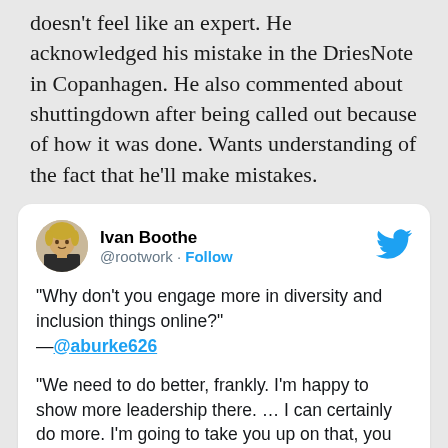doesn't feel like an expert. He acknowledged his mistake in the DriesNote in Copanhagen. He also commented about shuttingdown after being called out because of how it was done. Wants understanding of the fact that he'll make mistakes.
[Figure (screenshot): Tweet card from Ivan Boothe (@rootwork) with Twitter bird logo. Contains two quoted exchanges: 'Why don't you engage more in diversity and inclusion things online?' attributed to @aburke626, and a reply: 'We need to do better, frankly. I'm happy to show more leadership there. … I can certainly do more. I'm going to take you up on that, you have my promise.']